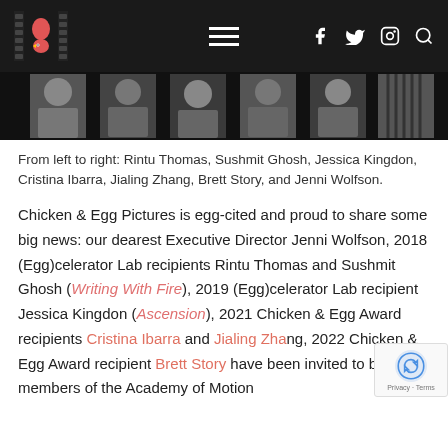Chicken & Egg Pictures website navigation header with logo, hamburger menu, and social icons (Facebook, Twitter, Instagram, Search)
[Figure (photo): Black and white film strip style photo collage showing six people cropped at shoulders/torso level]
From left to right: Rintu Thomas, Sushmit Ghosh, Jessica Kingdon, Cristina Ibarra, Jialing Zhang, Brett Story, and Jenni Wolfson.
Chicken & Egg Pictures is egg-cited and proud to share some big news: our dearest Executive Director Jenni Wolfson, 2018 (Egg)celerator Lab recipients Rintu Thomas and Sushmit Ghosh (Writing With Fire), 2019 (Egg)celerator Lab recipient Jessica Kingdon (Ascension), 2021 Chicken & Egg Award recipients Cristina Ibarra and Jialing Zhang, 2022 Chicken & Egg Award recipient Brett Story have been invited to become members of the Academy of Motion